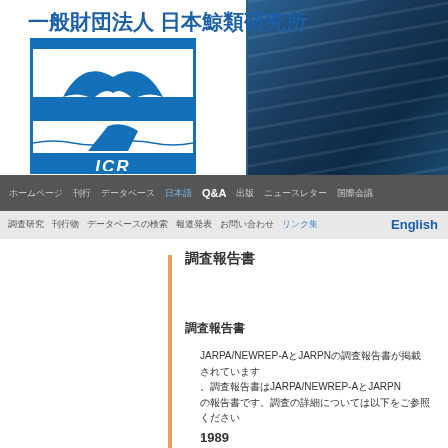[Figure (logo): ICR (Institute of Cetacean Research) logo with whale tail graphic and blue striped design, with Japanese organization name 一般財団法人 日本鯨類研究所 and ocean background]
一般財団法人 日本鯨類研究所
ホームページ　刊行　データベース　日本語　Q&A　出版　ニュースレター　国際会議
調査研究　刊行物　データベースの検索　報道発表　お問い合わせ　リンク集　English
調査報告書
調査報告書
JARPA/NEWREP-AとJARPNの調査報告書が掲載されています。調査報告書はJARPA/NEWREP-AとJARPNの報告書です。調査の詳細については以下をご参照ください。
1989